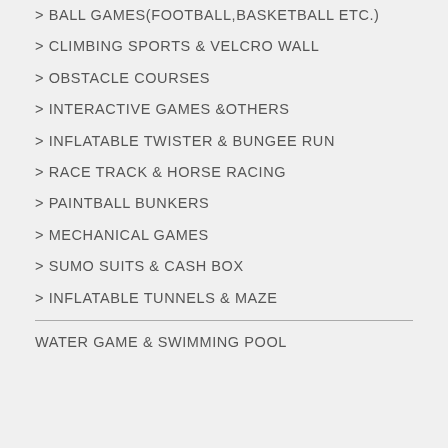> BALL GAMES(FOOTBALL,BASKETBALL ETC.)
> CLIMBING SPORTS & VELCRO WALL
> OBSTACLE COURSES
> INTERACTIVE GAMES &OTHERS
> INFLATABLE TWISTER & BUNGEE RUN
> RACE TRACK & HORSE RACING
> PAINTBALL BUNKERS
> MECHANICAL GAMES
> SUMO SUITS & CASH BOX
> INFLATABLE TUNNELS & MAZE
WATER GAME & SWIMMING POOL